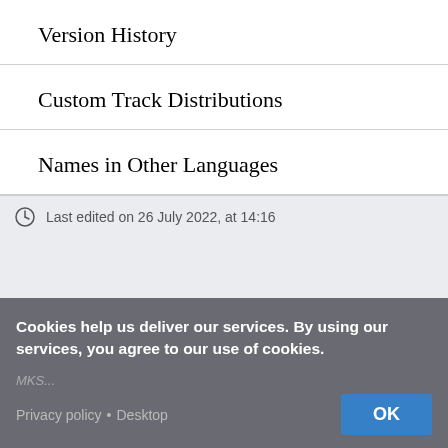Version History
Custom Track Distributions
Names in Other Languages
Last edited on 26 July 2022, at 14:16
Cookies help us deliver our services. By using our services, you agree to our use of cookies.
Privacy policy • Desktop  OK